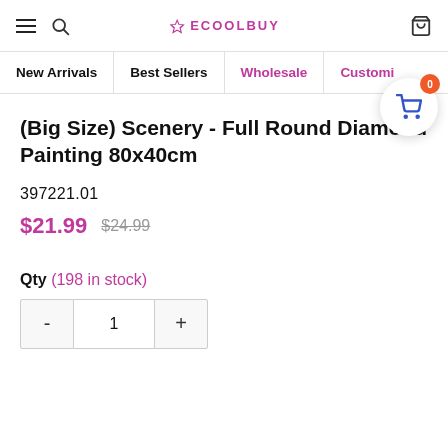ECOOLBUY — navigation header with hamburger menu, search icon, logo, and cart icon
New Arrivals | Best Sellers | Wholesale | Customi...
(Big Size) Scenery - Full Round Diamond Painting 80x40cm
397221.01
$21.99  $24.99
Qty (198 in stock)
- 1 +